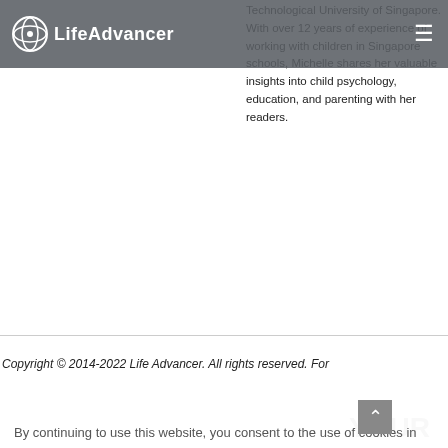LifeAdvancer
Technological University of Singapore. With over 12 years of experience of working with children in Singapore schools, Michelle shares her valuable insights into child psychology, education, and parenting with her readers.
Copyright © 2014-2022 Life Advancer. All rights reserved. For
By continuing to use this website, you consent to the use of cookies in accordance with our Cookie Policy.
ACCEPT
YOUR